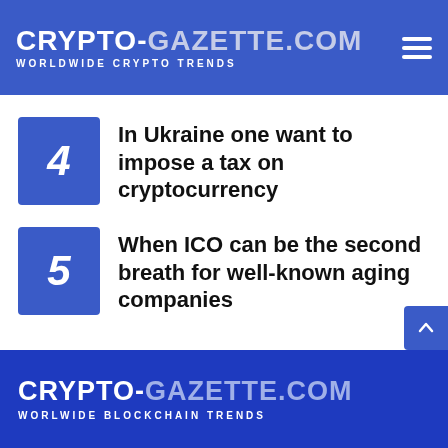CRYPTO-GAZETTE.COM WORLDWIDE CRYPTO TRENDS
4 In Ukraine one want to impose a tax on cryptocurrency
5 When ICO can be the second breath for well-known aging companies
CRYPTO-GAZETTE.COM WORLWIDE BLOCKCHAIN TRENDS